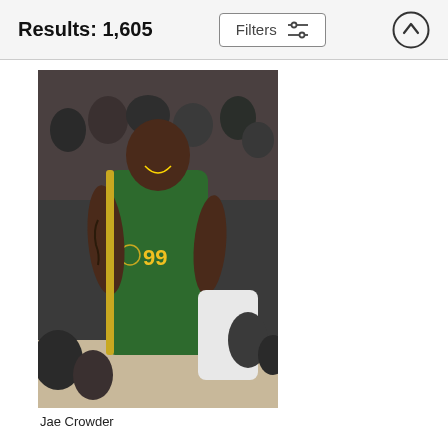Results: 1,605
Filters
[Figure (photo): Basketball player Jae Crowder wearing Utah Jazz green and yellow jersey number 99, smiling on the court with crowd in the background.]
Jae Crowder